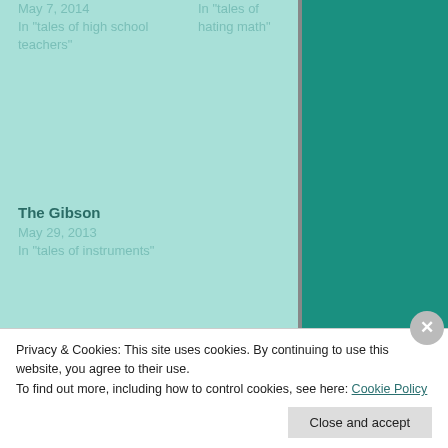May 7, 2014
In "tales of high school teachers"
In "tales of hating math"
The Gibson
May 29, 2013
In "tales of instruments"
7 COMMENTS
Privacy & Cookies: This site uses cookies. By continuing to use this website, you agree to their use.
To find out more, including how to control cookies, see here: Cookie Policy
Close and accept